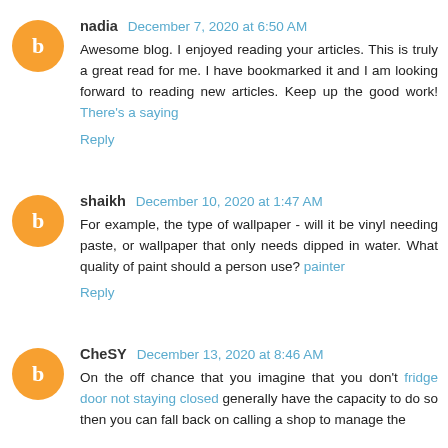nadia December 7, 2020 at 6:50 AM
Awesome blog. I enjoyed reading your articles. This is truly a great read for me. I have bookmarked it and I am looking forward to reading new articles. Keep up the good work! There's a saying
Reply
shaikh December 10, 2020 at 1:47 AM
For example, the type of wallpaper - will it be vinyl needing paste, or wallpaper that only needs dipped in water. What quality of paint should a person use? painter
Reply
CheSY December 13, 2020 at 8:46 AM
On the off chance that you imagine that you don't fridge door not staying closed generally have the capacity to do so then you can fall back on calling a shop to manage the